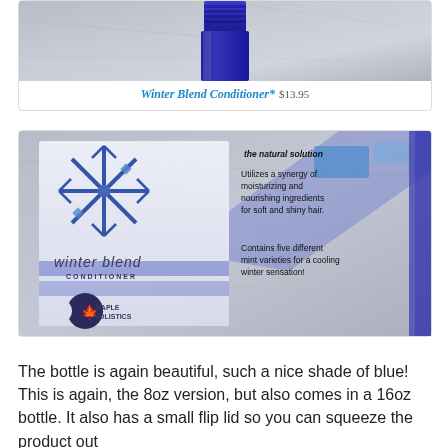[Figure (photo): Product photo showing top of a blue bottle of Winter Blend Conditioner]
Winter Blend Conditioner* $13.95
[Figure (photo): Close-up photo of Winter Blend Conditioner label by Maple Holistics showing snowflake design and text: 'the natural solution', 'Utilizes a synergy of moisturizing and nourishing ingredients for soft and shiny hair.', 'Contains five different mint varieties for a cooling winter sensation!']
The bottle is again beautiful, such a nice shade of blue! This is again, the 8oz version, but also comes in a 16oz bottle. It also has a small flip lid so you can squeeze the product out